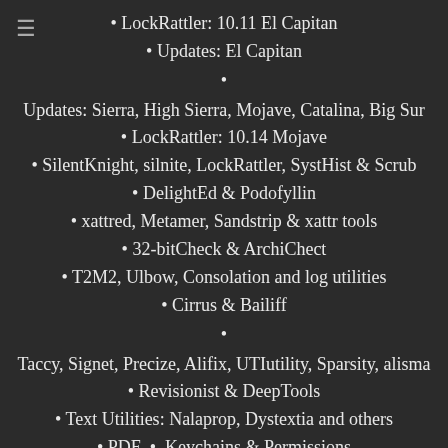• LockRattler: 10.11 El Capitan
• Updates: El Capitan
•
Updates: Sierra, High Sierra, Mojave, Catalina, Big Sur
• LockRattler: 10.14 Mojave
• SilentKnight, silnite, LockRattler, SystHist & Scrub
• DelightEd & Podofyllin
• xattred, Metamer, Sandstrip & xattr tools
• 32-bitCheck & ArchiChect
• T2M2, Ulbow, Consolation and log utilities
• Cirrus & Bailiff
•
Taccy, Signet, Precize, Alifix, UTIutility, Sparsity, alisma
• Revisionist & DeepTools
• Text Utilities: Nalaprop, Dystextia and others
• PDF  •  Keychains & Permissions
• LockRattler: 10.15 Catalina  •  Updates
•